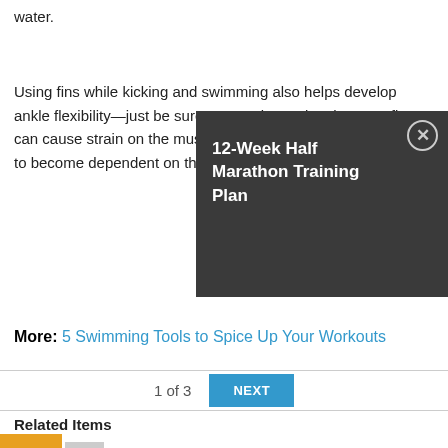water.
Using fins while kicking and swimming also helps develop ankle flexibility—just be sure to ease into using them, as fins can cause strain on the muscles if overused. You don't want to become dependent on the fins either.
[Figure (screenshot): Dark gray popup overlay with title '12-Week Half Marathon Training Plan' and a circular X close button in the top right corner.]
More: 5 Swimming Tools to Spice Up Your Workouts
1 of 3
NEXT
Related Items
[Figure (screenshot): Orange share icon button and a gray 'LS' button below Related Items section.]